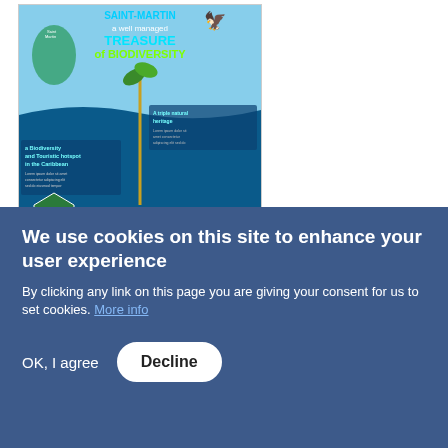[Figure (infographic): Saint-Martin biodiversity infographic poster titled 'SAINT-MARTIN a well managed TREASURE of BIODIVERSITY' with underwater and nature imagery, maps, hexagonal photo panels showing wildlife, coral, and people, with text sections about biodiversity hotspot, marine protected area, and recognized management.]
REGLEMENTATION de la RESERVE
[Figure (infographic): Row of yellow and black warning/regulation icons for the reserve]
We use cookies on this site to enhance your user experience
By clicking any link on this page you are giving your consent for us to set cookies. More info